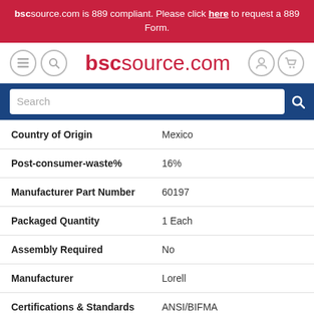bscsource.com is 889 compliant. Please click here to request a 889 Form.
[Figure (screenshot): Website header with bscsource.com logo, navigation icons, and search bar]
| Property | Value |
| --- | --- |
| Country of Origin | Mexico |
| Post-consumer-waste% | 16% |
| Manufacturer Part Number | 60197 |
| Packaged Quantity | 1 Each |
| Assembly Required | No |
| Manufacturer | Lorell |
| Certifications & Standards | ANSI/BIFMA |
| Material | Steel |